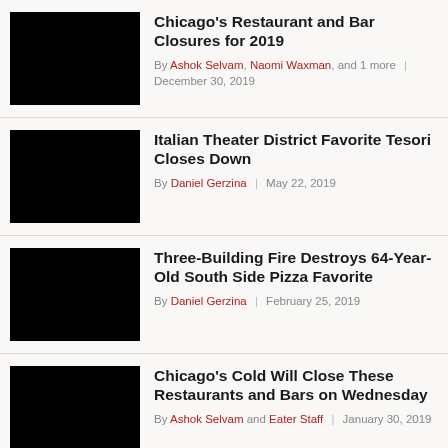Chicago's Restaurant and Bar Closures for 2019
By Ashok Selvam, Naomi Waxman, and 1 more | December 30, 2019
Italian Theater District Favorite Tesori Closes Down
By Daniel Gerzina | May 22, 2019
Three-Building Fire Destroys 64-Year-Old South Side Pizza Favorite
By Daniel Gerzina | February 25, 2019
Chicago's Cold Will Close These Restaurants and Bars on Wednesday
By Ashok Selvam and Eater Staff | January 30, 2019